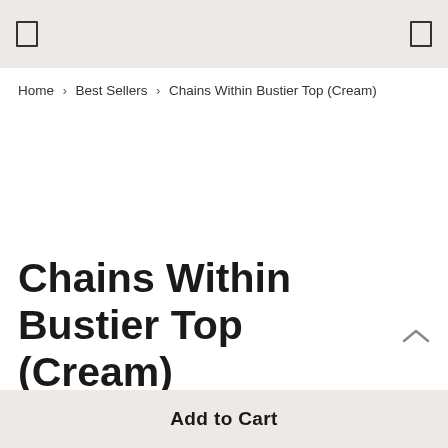[ icon ] [ icon ]
Home › Best Sellers › Chains Within Bustier Top (Cream)
Chains Within Bustier Top (Cream)
Add to Cart